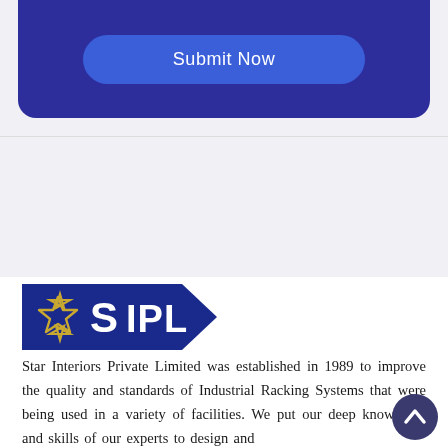[Figure (screenshot): Dark navy blue rounded card with a blue pill-shaped 'Submit Now' button centered inside it]
[Figure (logo): SIPL logo — dark blue shield/arrow shape with gold star outline and white bold text 'SIPL']
Star Interiors Private Limited was established in 1989 to improve the quality and standards of Industrial Racking Systems that were being used in a variety of facilities. We put our deep knowledge and skills of our experts to design and manufacture top-class products.